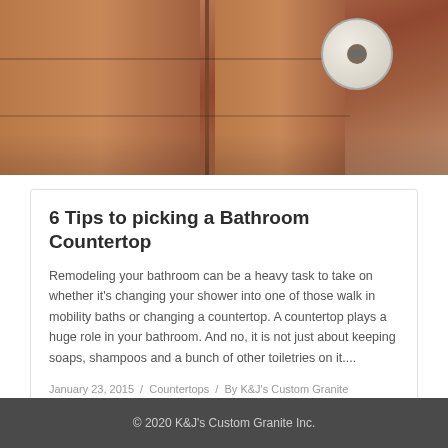[Figure (photo): Bathroom interior with wooden cabinet and toilet paper roll on holder]
6 Tips to picking a Bathroom Countertop
Remodeling your bathroom can be a heavy task to take on whether it's changing your shower into one of those walk in mobility baths or changing a countertop. A countertop plays a huge role in your bathroom. And no, it is not just about keeping soaps, shampoos and a bunch of other toiletries on it....
January 23, 2015 / Countertops / By K&J's Custom Granite
© 2020 K&J's Custom Granite Inc.